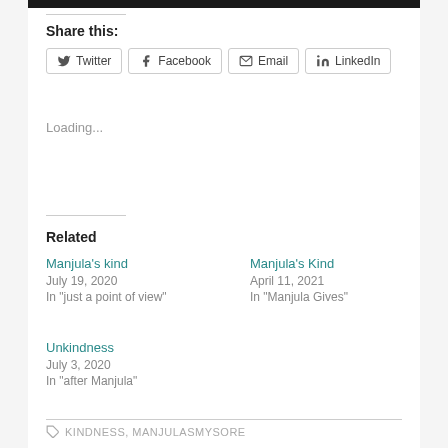[Figure (photo): Dark photo strip at top of page]
Share this:
Twitter
Facebook
Email
LinkedIn
Loading...
Related
Manjula's kind
July 19, 2020
In "just a point of view"
Manjula's Kind
April 11, 2021
In "Manjula Gives"
Unkindness
July 3, 2020
In "after Manjula"
KINDNESS, MANJULASMYSORE